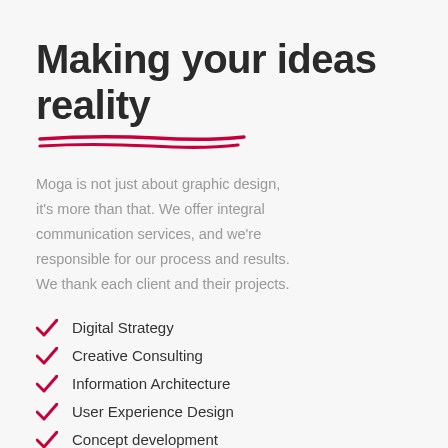Making your ideas reality
Moga is not just about graphic design, it's more than that. We offer integral communication services, and we're responsible for our process and results. We thank each client and their projects.
Digital Strategy
Creative Consulting
Information Architecture
User Experience Design
Concept development